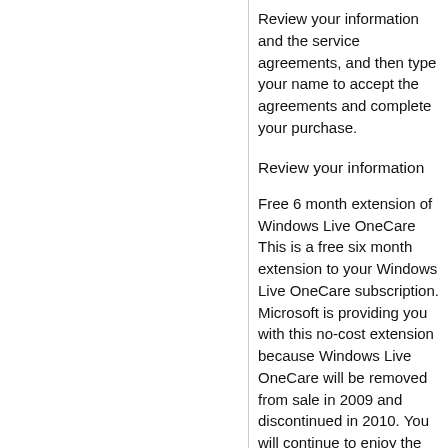Review your information and the service agreements, and then type your name to accept the agreements and complete your purchase.
Review your information
Free 6 month extension of Windows Live OneCare This is a free six month extension to your Windows Live OneCare subscription. Microsoft is providing you with this no-cost extension because Windows Live OneCare will be removed from sale in 2009 and discontinued in 2010. You will continue to enjoy the full benefits of your subscription until its expiration. Look for additional emails with more information about your options shortly before your subscription expires. Thank you for choosing Windows Live OneCare. YOUR CREDIT CARD WILL NOT BE